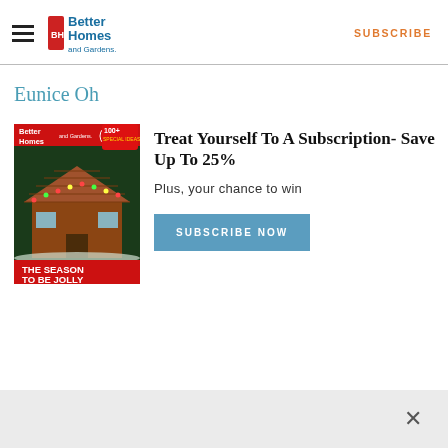Better Homes and Gardens — SUBSCRIBE
Eunice Oh
[Figure (illustration): Better Homes and Gardens magazine cover showing a festive cabin/lodge with Christmas decorations and the headline 'THE SEASON TO BE JOLLY'. Features '100+ ideas' badge and issue number 7.]
Treat Yourself To A Subscription- Save Up To 25%
Plus, your chance to win
SUBSCRIBE NOW